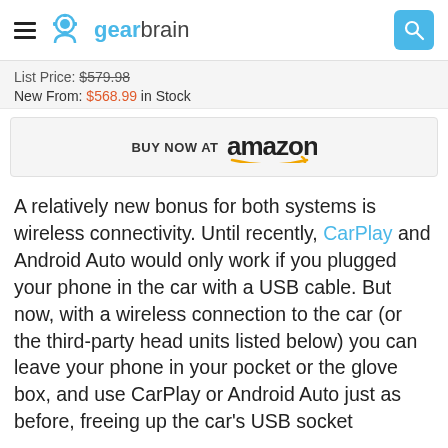gearbrain
List Price: $579.98
New From: $568.99 in Stock
BUY NOW AT amazon
A relatively new bonus for both systems is wireless connectivity. Until recently, CarPlay and Android Auto would only work if you plugged your phone in the car with a USB cable. But now, with a wireless connection to the car (or the third-party head units listed below) you can leave your phone in your pocket or the glove box, and use CarPlay or Android Auto just as before, freeing up the car's USB socket